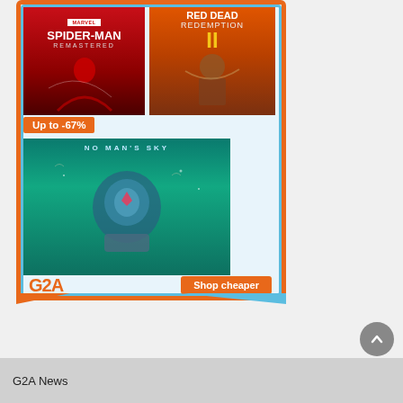[Figure (screenshot): G2A gaming marketplace advertisement banner featuring game covers: Marvel Spider-Man Remastered, Red Dead Redemption II, No Man's Sky (Up to -67% discount badge), G2A logo, and 'Shop cheaper' orange button]
G2A News